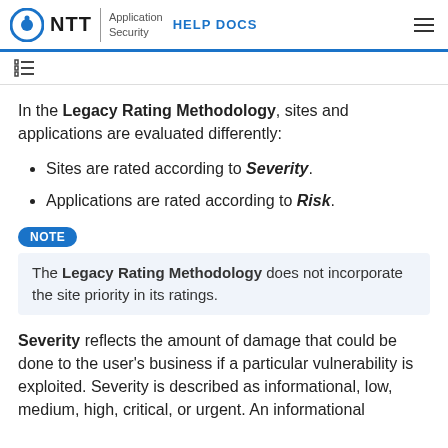NTT Application Security HELP DOCS
In the Legacy Rating Methodology, sites and applications are evaluated differently:
Sites are rated according to Severity.
Applications are rated according to Risk.
NOTE
The Legacy Rating Methodology does not incorporate the site priority in its ratings.
Severity reflects the amount of damage that could be done to the user's business if a particular vulnerability is exploited. Severity is described as informational, low, medium, high, critical, or urgent. An informational